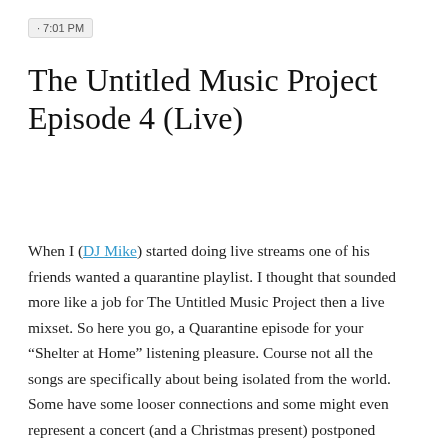· 7:01 PM
The Untitled Music Project Episode 4 (Live)
When I (DJ Mike) started doing live streams one of his friends wanted a quarantine playlist. I thought that sounded more like a job for The Untitled Music Project then a live mixset. So here you go, a Quarantine episode for your “Shelter at Home” listening pleasure. Course not all the songs are specifically about being isolated from the world. Some have some looser connections and some might even represent a concert (and a Christmas present) postponed until 2021.